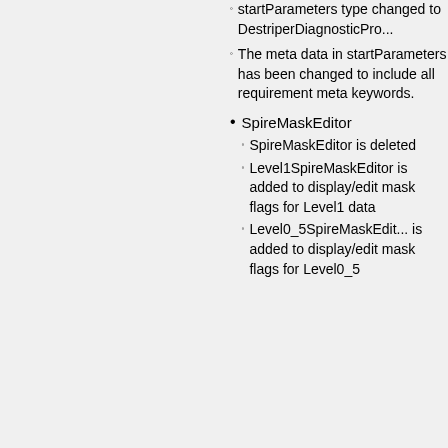startParameters type changed to DestriperDiagnosticPro...
The meta data in startParameters has been changed to include all requirement meta keywords.
SpireMaskEditor
SpireMaskEditor is deleted
Level1SpireMaskEditor is added to display/edit mask flags for Level1 data
Level0_5SpireMaskEdit... is added to display/edit mask flags for Level0_5